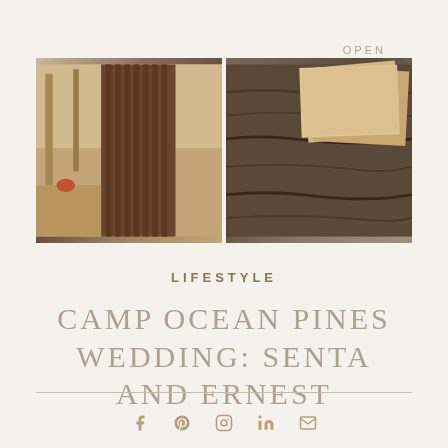OPEN MENU
[Figure (photo): Two side-by-side photos: left shows a wooden structure/doorway among pine trees in a warm vintage tone; right shows tree bark texture with beige/kraft paper cards overlaid.]
LIFESTYLE
CAMP OCEAN PINES WEDDING: SENTA AND ERNEST
[Figure (infographic): Social media sharing icons row: Facebook, Pinterest, Instagram, LinkedIn, Email]